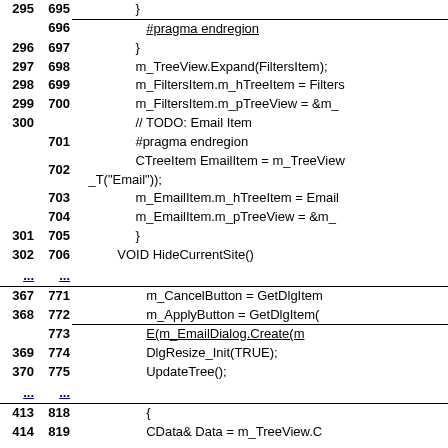[Figure (screenshot): Code diff view showing line numbers and source code lines for a C++ file. Left column shows original line numbers (bold), right column shows new line numbers (bold), followed by code content. Lines include pragma endregion, closing braces, m_TreeView and m_FiltersItem assignments, TODO comment, CTreeItem EmailItem declaration, m_EmailItem assignments, VOID HideCurrentSite(), ellipsis rows indicating omitted lines, m_CancelButton and m_ApplyButton assignments, E(m_EmailDialog.Create(...)), DlgResize_Init(TRUE), UpdateTree(), and opening brace with CData& Data line.]